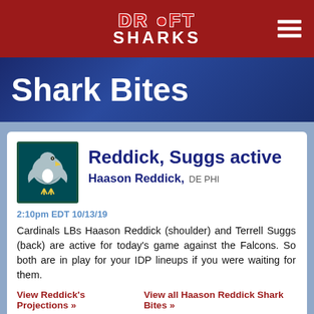DRAFT SHARKS
Shark Bites
Reddick, Suggs active
Haason Reddick, DE PHI
2:10pm EDT 10/13/19
Cardinals LBs Haason Reddick (shoulder) and Terrell Suggs (back) are active for today's game against the Falcons. So both are in play for your IDP lineups if you were waiting for them.
View Reddick's Projections »   View all Haason Reddick Shark Bites »